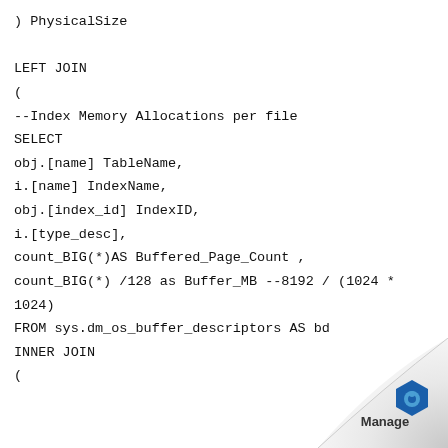) PhysicalSize

LEFT JOIN
(
--Index Memory Allocations per file
SELECT
obj.[name] TableName,
i.[name] IndexName,
obj.[index_id] IndexID,
i.[type_desc],
count_BIG(*)AS Buffered_Page_Count ,
count_BIG(*) /128 as Buffer_MB --8192 / (1024 *
1024)
FROM sys.dm_os_buffer_descriptors AS bd
INNER JOIN
(
[Figure (logo): Manage engine logo with hexagonal blue icon and 'Manage' text on a page-curl decorative element in the bottom right corner]